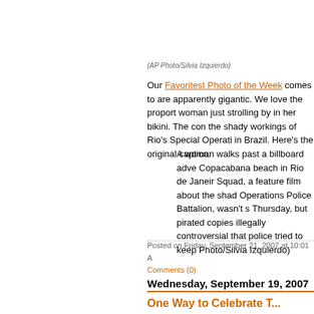(AP Photo/Silvia Izquierdo)
Our Favoritest Photo of the Week comes to are apparently gigantic. We love the proportion woman just strolling by in her bikini. The con the shady workings of Rio's Special Operati in Brazil. Here's the original caption:
A woman walks past a billboard adve Copacabana beach in Rio de Janeir Squad, a feature film about the shad Operations Police Battalion, wasn't s Thursday, but pirated copies illegally controversial that police tried to keep Photo/Silvia Izquierdo)
Posted on Friday, September 21, 2007 at 10:01 A
Comments (0)
Wednesday, September 19, 2007
One Way to Celebrate T...